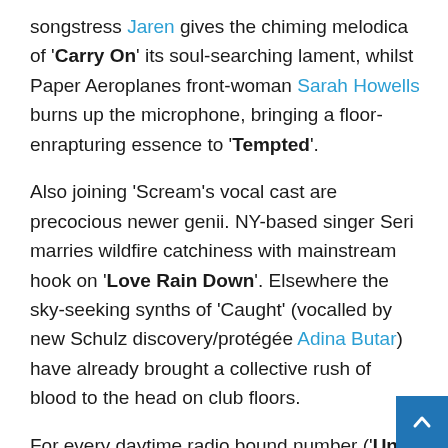songstress Jaren gives the chiming melodica of 'Carry On' its soul-searching lament, whilst Paper Aeroplanes front-woman Sarah Howells burns up the microphone, bringing a floor-enrapturing essence to 'Tempted'.
Also joining 'Scream's vocal cast are precocious newer genii. NY-based singer Seri marries wildfire catchiness with mainstream hook on 'Love Rain Down'. Elsewhere the sky-seeking synths of 'Caught' (vocalled by new Schulz discovery/protégée Adina Butar) have already brought a collective rush of blood to the head on club floors.
For every daytime radio bound number ('Until Its Gone' & Nothing Without Me' to tag but a few), there's a tra lending 'Scream' it's essential underground